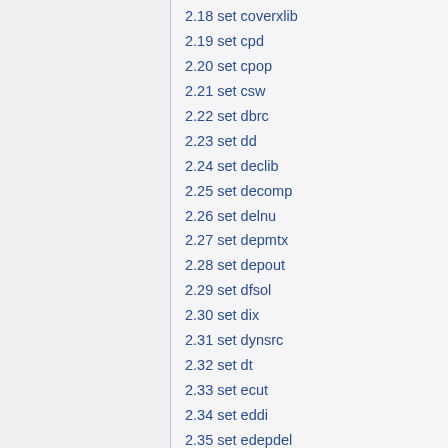2.18 set coverxlib
2.19 set cpd
2.20 set cpop
2.21 set csw
2.22 set dbrc
2.23 set dd
2.24 set declib
2.25 set decomp
2.26 set delnu
2.27 set depmtx
2.28 set depout
2.29 set dfsol
2.30 set dix
2.31 set dynsrc
2.32 set dt
2.33 set ecut
2.34 set eddi
2.35 set edepdel
2.36 set edepkcorr
2.37 set edepmode